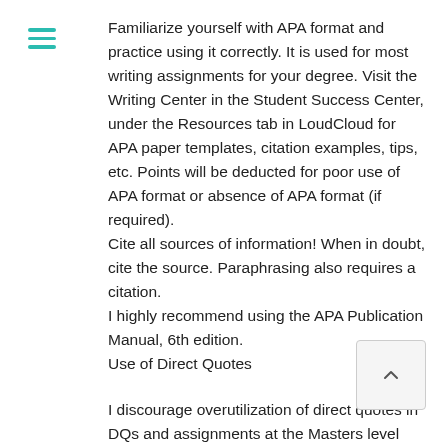[Figure (other): Hamburger menu icon with three teal horizontal lines]
Familiarize yourself with APA format and practice using it correctly. It is used for most writing assignments for your degree. Visit the Writing Center in the Student Success Center, under the Resources tab in LoudCloud for APA paper templates, citation examples, tips, etc. Points will be deducted for poor use of APA format or absence of APA format (if required).
Cite all sources of information! When in doubt, cite the source. Paraphrasing also requires a citation.
I highly recommend using the APA Publication Manual, 6th edition.
Use of Direct Quotes
I discourage overutilization of direct quotes in DQs and assignments at the Masters level and deduct points accordingly.
As Masters' level students, it is important that you be able to critically analyze and